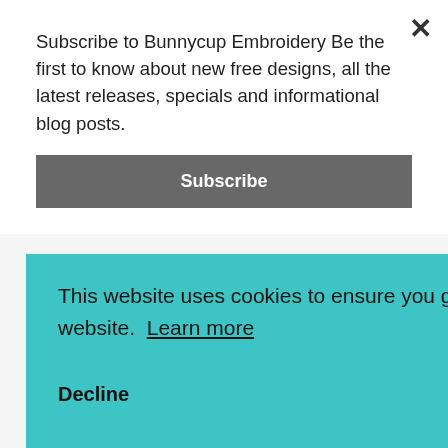Subscribe to Bunnycup Embroidery Be the first to know about new free designs, all the latest releases, specials and informational blog posts.
Subscribe
me it is an expense to purchase the thread and fabrics, let alone designs. I get to try my machine and choose from your beautiful designs for free. This is such a great service and I am
This website uses cookies to ensure you get the best experience on our website. Learn more
Decline
Got it!
freebies and the great selection of